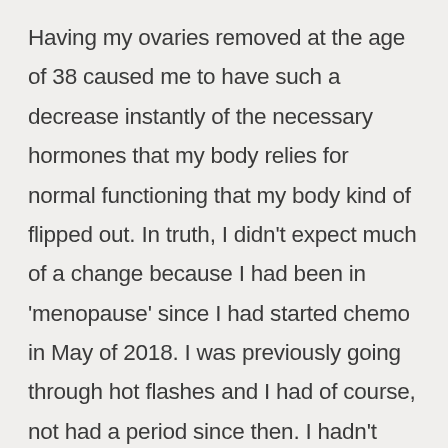Having my ovaries removed at the age of 38 caused me to have such a decrease instantly of the necessary hormones that my body relies for normal functioning that my body kind of flipped out. In truth, I didn’t expect much of a change because I had been in ‘menopause’ since I had started chemo in May of 2018. I was previously going through hot flashes and I had of course, not had a period since then. I hadn’t been very educated on how those hormones actually